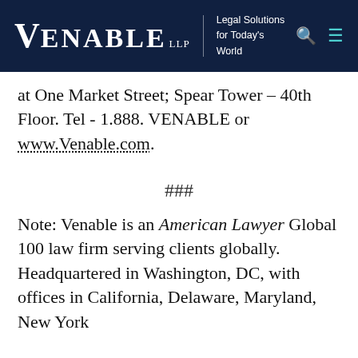VENABLE LLP — Legal Solutions for Today's World
at One Market Street; Spear Tower – 40th Floor. Tel - 1.888. VENABLE or www.Venable.com.
###
Note: Venable is an American Lawyer Global 100 law firm serving clients globally. Headquartered in Washington, DC, with offices in California, Delaware, Maryland, New York